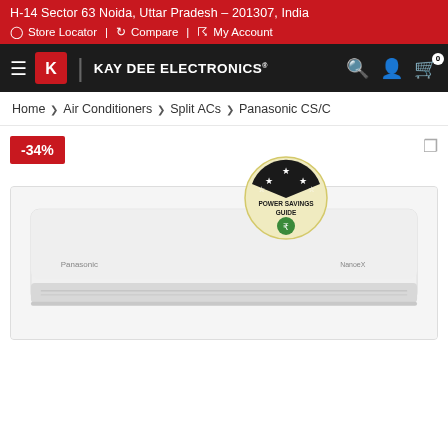H-14 Sector 63 Noida, Uttar Pradesh – 201307, India
Store Locator | Compare | My Account
KAY DEE ELECTRONICS
Home > Air Conditioners > Split ACs > Panasonic CS/C
-34%
[Figure (logo): Energy star Power Savings Guide badge with 3 stars]
[Figure (photo): White Panasonic split air conditioner unit]